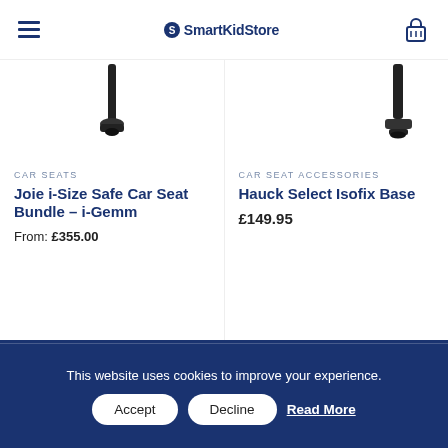SmartKidStore — navigation header with hamburger menu and basket icon
[Figure (photo): Partial view of a car seat product base/leg in black against white background]
CAR SEATS
Joie i-Size Safe Car Seat Bundle – i-Gemm
From: £355.00
[Figure (photo): Partial view of an isofix base product in black against white background]
CAR SEAT ACCESSORIES
Hauck Select Isofix Base
£149.95
WHO ARE WE?
About Us
Contact Us
This website uses cookies to improve your experience.
Accept   Decline   Read More